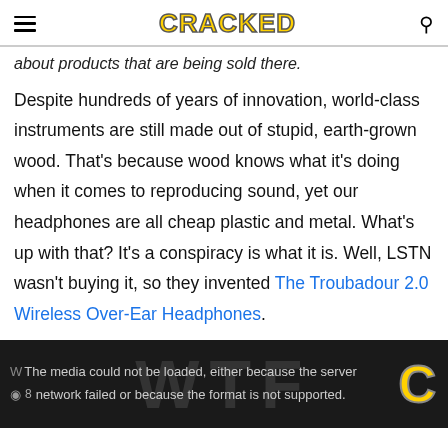CRACKED
about products that are being sold there.
Despite hundreds of years of innovation, world-class instruments are still made out of stupid, earth-grown wood. That's because wood knows what it's doing when it comes to reproducing sound, yet our headphones are all cheap plastic and metal. What's up with that? It's a conspiracy is what it is. Well, LSTN wasn't buying it, so they invented The Troubadour 2.0 Wireless Over-Ear Headphones.
[Figure (screenshot): Video player showing error message: The media could not be loaded, either because the server or network failed or because the format is not supported. Dark background with faint letter silhouettes and a gold Cracked C logo on the right.]